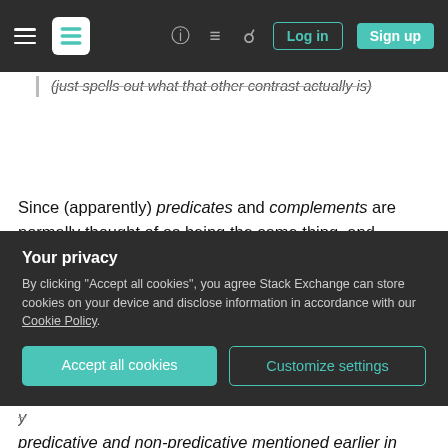Stack Exchange navigation bar with hamburger menu, logo, help icon, community icon, search icon, Log in and Sign up buttons
(just spells out what that other contrast actually is)
Since (apparently) predicates and complements are normally thought of as being the same thing, and complements and adjuncts are normally thought of as being different things, you wouldn't expect that a predicative clause could be classified as an adjunct. But for reasons (apparently) explained in the preceding text, the authors here intend to do treat predicative/non-predicative and complement/adjunct
Your privacy
By clicking "Accept all cookies", you agree Stack Exchange can store cookies on your device and disclose information in accordance with our Cookie Policy.
Accept all cookies
Customize settings
predicative and non-predicative mentioned earlier in